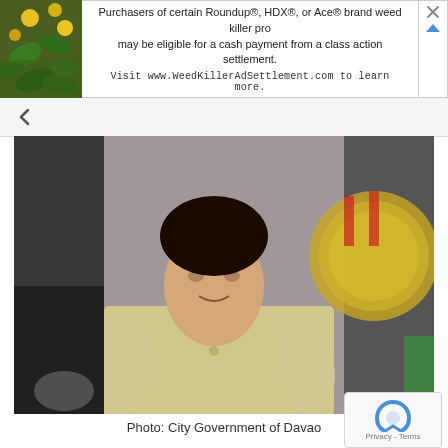[Figure (screenshot): Advertisement banner for WeedKillerAdSettlement.com — Roundup, HDX, Ace brand weed killer class action settlement]
[Figure (photo): Photo of the Davao City Mayor seated, wearing a light yellow short-sleeved shirt, with a government seal visible in the background]
Photo: City Government of Davao
However, according to the Davao City Mayor, she and President Rodrigo Roa Duterte agreed that only one of them must run for a national post. The 76-year-old Chief Executive previously accepted his party's nomination for vice president.